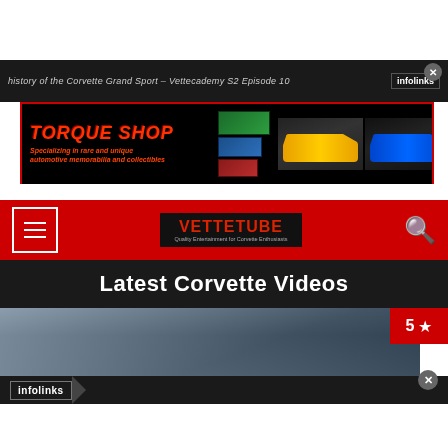history of the Corvette Grand Sport – Vettecademy S2 Episode 10
[Figure (screenshot): Infolinks advertisement banner with close button]
[Figure (screenshot): Torque Shop banner ad: specializing in rare and unique automotive memorabilia and collectibles, featuring yellow Corvette and blue Viper]
[Figure (screenshot): VetteTube website navigation bar with hamburger menu, VetteTube logo, and search icon on red background]
Latest Corvette Videos
[Figure (screenshot): Video thumbnail with stormy sky background, 5-star rating badge in red]
[Figure (screenshot): Infolinks advertisement bar at bottom with close button]